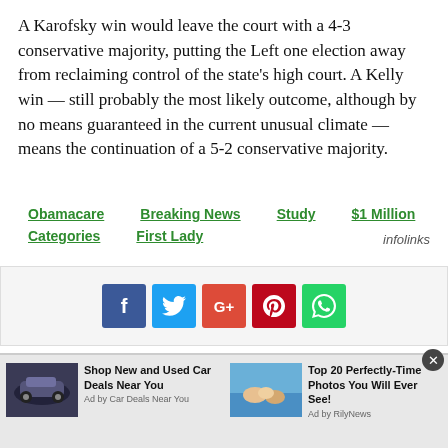A Karofsky win would leave the court with a 4-3 conservative majority, putting the Left one election away from reclaiming control of the state's high court. A Kelly win — still probably the most likely outcome, although by no means guaranteed in the current unusual climate — means the continuation of a 5-2 conservative majority.
Obamacare   Breaking News   Study
$1 Million   Categories   First Lady   infolinks
[Figure (infographic): Social share buttons: Facebook (blue), Twitter (light blue), Google+ (red-orange), Pinterest (dark red), WhatsApp (green)]
[Figure (infographic): Two advertisement boxes at the bottom. Left ad: car image thumbnail with text 'Shop New and Used Car Deals Near You', Ad by Car Deals Near You. Right ad: beach/people photo thumbnail with text 'Top 20 Perfectly-Time Photos You Will Ever See!', Ad by RilyNews.]